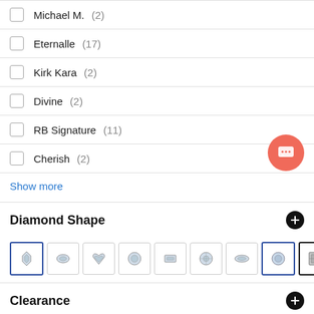Michael M. (2)
Eternalle (17)
Kirk Kara (2)
Divine (2)
RB Signature (11)
Cherish (2)
Show more
Diamond Shape
[Figure (other): Row of 9 diamond shape selector icons, first and 8th highlighted with blue border, last with dark border]
Clearance
Clearance (4)
Metal